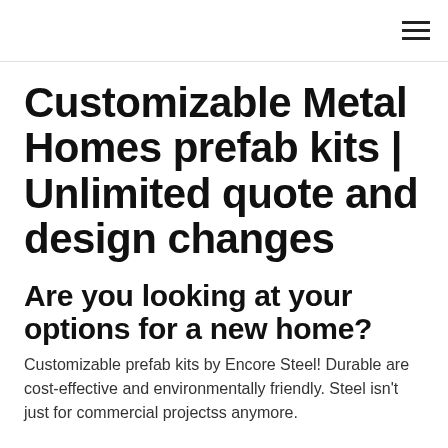≡
Customizable Metal Homes prefab kits | Unlimited quote and design changes
Are you looking at your options for a new home?
Customizable prefab kits by Encore Steel! Durable are cost-effective and environmentally friendly. Steel isn't just for commercial projectss anymore.